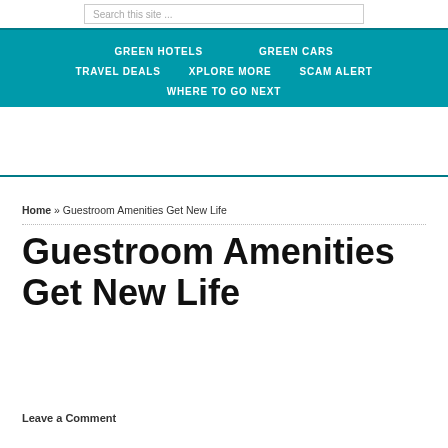Search this site ...
GREEN HOTELS  GREEN CARS  TRAVEL DEALS  XPLORE MORE  SCAM ALERT  WHERE TO GO NEXT
Home » Guestroom Amenities Get New Life
Guestroom Amenities Get New Life
Leave a Comment